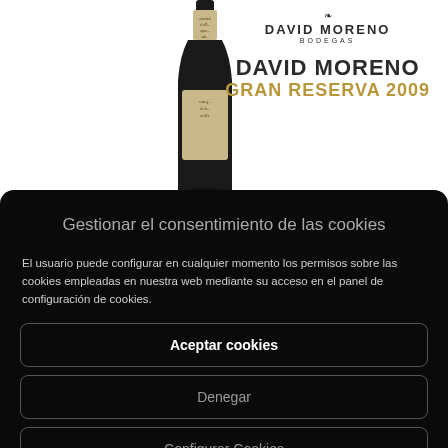[Figure (photo): Wine bottle (David Moreno Gran Reserva 2009) with decorative label, partially shown from the top, positioned in the center-left of the white background area.]
DAVID MORENO
BODEGAS
DAVID MORENO
GRAN RESERVA 2009
Gestionar el consentimiento de las cookies
El usuario puede configurar en cualquier momento los permisos sobre las cookies empleadas en nuestra web mediante su acceso en el panel de configuración de cookies.
Aceptar cookies
Denegar
Configurar Cookies